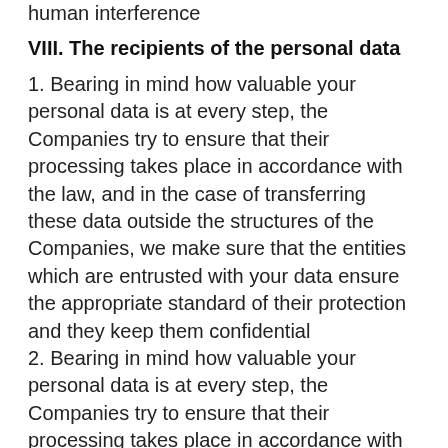human interference
VIII. The recipients of the personal data
1. Bearing in mind how valuable your personal data is at every step, the Companies try to ensure that their processing takes place in accordance with the law, and in the case of transferring these data outside the structures of the Companies, we make sure that the entities which are entrusted with your data ensure the appropriate standard of their protection and they keep them confidential
2. Bearing in mind how valuable your personal data is at every step, the Companies try to ensure that their processing takes place in accordance with the law, and in the case of transferring these data outside the structures of the Companies, we make sure that the entities which are entrusted with your data ensure the appropriate standard of their protection and